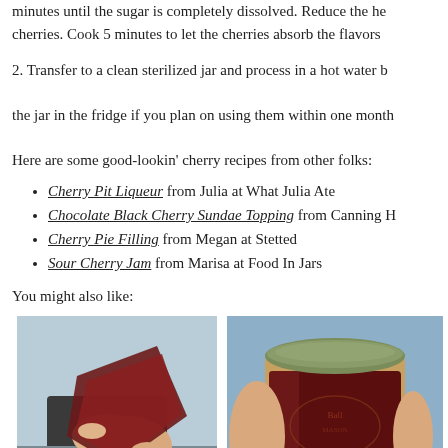minutes until the sugar is completely dissolved. Reduce the heat and add cherries. Cook 5 minutes to let the cherries absorb the flavors.
2. Transfer to a clean sterilized jar and process in a hot water b... the jar in the fridge if you plan on using them within one month...
Here are some good-lookin' cherry recipes from other folks:
Cherry Pit Liqueur from Julia at What Julia Ate
Chocolate Black Cherry Sundae Topping from Canning H...
Cherry Pie Filling from Megan at Stetted
Sour Cherry Jam from Marisa at Food In Jars
You might also like:
[Figure (photo): Hands holding a piece of dark red cherry fruit leather being peeled apart]
Homemade Cherry Fruit Leather
[Figure (photo): A hand holding a mason jar filled with dark red strawberry or cherry jam]
Simply Delicious Strawbe...